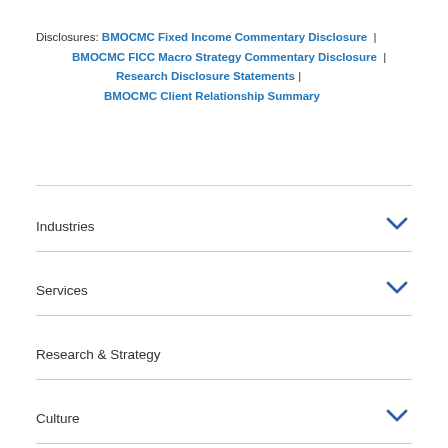Disclosures: BMOCMC Fixed Income Commentary Disclosure | BMOCMC FICC Macro Strategy Commentary Disclosure | Research Disclosure Statements | BMOCMC Client Relationship Summary
Industries
Services
Research & Strategy
Culture